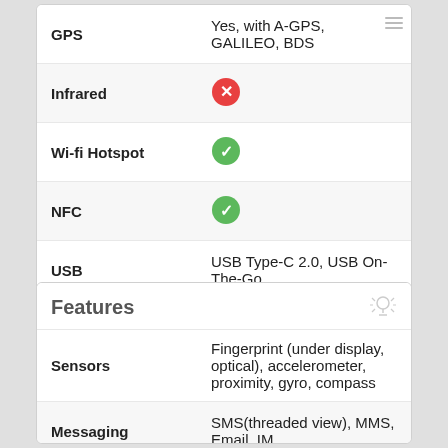| Feature | Value |
| --- | --- |
| GPS | Yes, with A-GPS, GALILEO, BDS |
| Infrared | ❌ |
| Wi-fi Hotspot | ✅ |
| NFC | ✅ |
| USB | USB Type-C 2.0, USB On-The-Go |
| USB Type-C | ✅ |
Features
| Feature | Value |
| --- | --- |
| Sensors | Fingerprint (under display, optical), accelerometer, proximity, gyro, compass |
| Messaging | SMS(threaded view), MMS, Email, IM |
| Browser | HTML5 |